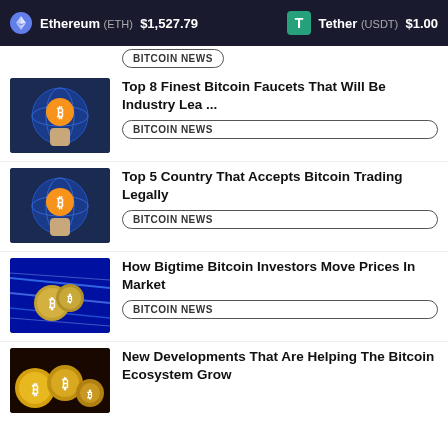Ethereum (ETH) $1,527.79   Tether (USDT) $1.00
BITCOIN NEWS
Top 8 Finest Bitcoin Faucets That Will Be Industry Lea ...
BITCOIN NEWS
Top 5 Country That Accepts Bitcoin Trading Legally
BITCOIN NEWS
How Bigtime Bitcoin Investors Move Prices In Market
BITCOIN NEWS
New Developments That Are Helping The Bitcoin Ecosystem Grow